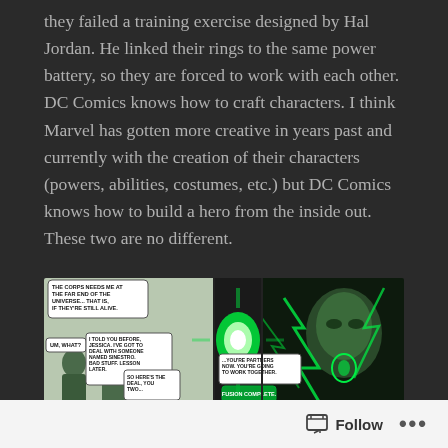they failed a training exercise designed by Hal Jordan. He linked their rings to the same power battery, so they are forced to work with each other. DC Comics knows how to craft characters. I think Marvel has gotten more creative in years past and currently with the creation of their characters (powers, abilities, costumes, etc.) but DC Comics knows how to build a hero from the inside out. These two are no different.
[Figure (illustration): Comic book panel showing Green Lantern characters. Left panel shows characters with speech bubbles including 'THE CORPS NEEDS ME AT THE FAR END OF THE UNIVERSE... THAT IS, IF THEY'RE STILL ALIVE.', 'UM, WHAT?', 'I TOLD YOU BEFORE, JESSICA. I'VE GOT TO DEAL WITH SOMEONE NAMED SINESTRO. BAD STUFF. LESSON LATER.', 'SO HERE'S THE DEAL, YOU TWO...' Middle panel shows a glowing green power battery. Right panel shows close-up of Green Lantern hero with green energy lightning. Speech bubbles: '...YOU'RE PARTNERS NOW. YOU'RE GOING TO WORK TOGETHER.' and 'FUSION COMPLETE.']
Follow ...